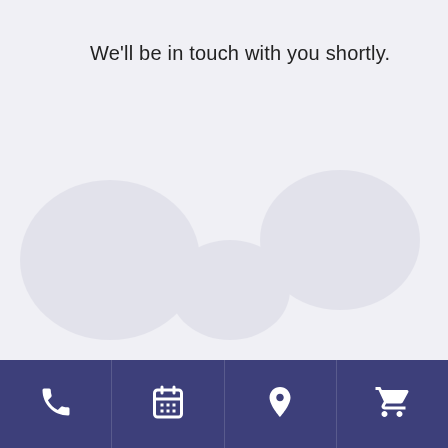We'll be in touch with you shortly.
Navigation bar with icons: phone, calendar, location pin, shopping cart